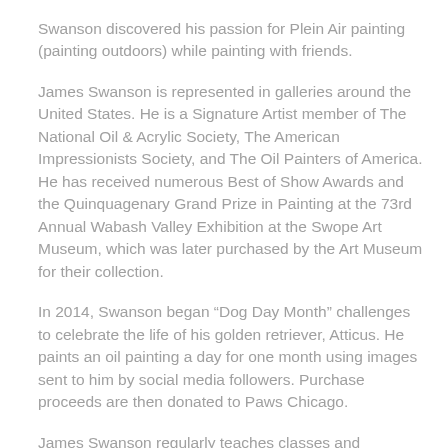Swanson discovered his passion for Plein Air painting (painting outdoors) while painting with friends.
James Swanson is represented in galleries around the United States. He is a Signature Artist member of The National Oil & Acrylic Society, The American Impressionists Society, and The Oil Painters of America. He has received numerous Best of Show Awards and the Quinquagenary Grand Prize in Painting at the 73rd Annual Wabash Valley Exhibition at the Swope Art Museum, which was later purchased by the Art Museum for their collection.
In 2014, Swanson began “Dog Day Month” challenges to celebrate the life of his golden retriever, Atticus. He paints an oil painting a day for one month using images sent to him by social media followers. Purchase proceeds are then donated to Paws Chicago.
James Swanson regularly teaches classes and workshops.